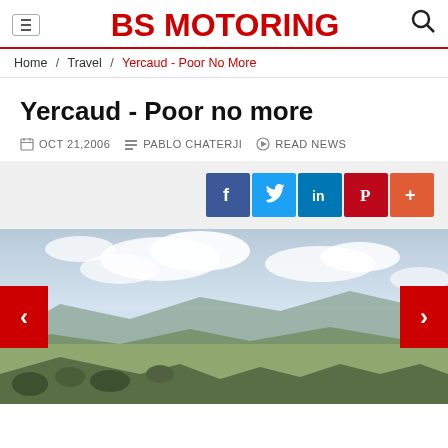BS MOTORING
Home / Travel / Yercaud - Poor No More
Yercaud - Poor no more
OCT 21,2006  PABLO CHATERJI  READ NEWS
[Figure (infographic): Social sharing buttons: Facebook, Twitter, LinkedIn, Pinterest, More]
[Figure (photo): Panoramic landscape view from a hill station showing valleys, plains, mountains and cloudy sky - Yercaud hill station view]